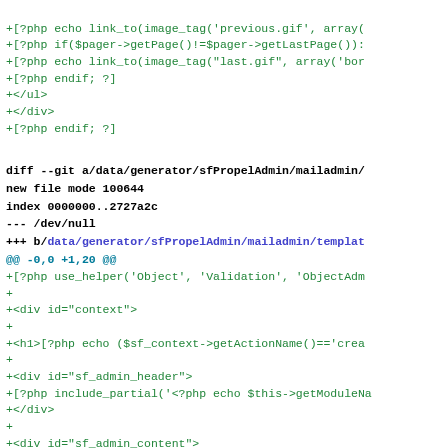+[?php echo link_to(image_tag('previous.gif', array(
+[?php if($pager->getPage()!=$pager->getLastPage()):
+[?php echo link_to(image_tag("last.gif", array('bor
+[?php endif; ?]
+</ul>
+</div>
+[?php endif; ?]
diff --git a/data/generator/sfPropelAdmin/mailadmin/
new file mode 100644
index 0000000..2727a2c
--- /dev/null
+++ b/data/generator/sfPropelAdmin/mailadmin/templat
@@ -0,0 +1,20 @@
+[?php use_helper('Object', 'Validation', 'ObjectAdmi
+
+<div id="context">
+
+<h1>[?php echo ($sf_context->getActionName()=='creat
+
+<div id="sf_admin_header">
+[?php include_partial('<?php echo $this->getModuleNa
+</div>
+
+<div id="sf_admin_content">
+[?php include_partial('<?php echo $this->getModuleNa
+[?php include_partial('<?php echo $this->getModuleNa
+</div>
+
+<div id="sf_admin_footer">
+[?php include_partial('<?php echo $this->getModulena